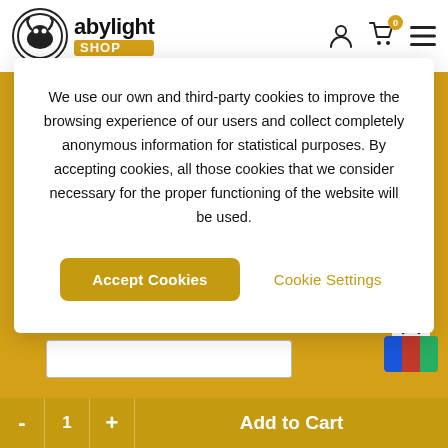[Figure (logo): Abylight Shop logo with circular icon and yellow SHOP badge]
We use our own and third-party cookies to improve the browsing experience of our users and collect completely anonymous information for statistical purposes. By accepting cookies, all those cookies that we consider necessary for the proper functioning of the website will be used.
Accept Cookies
Cookie Settings
- 1 + Add to Cart